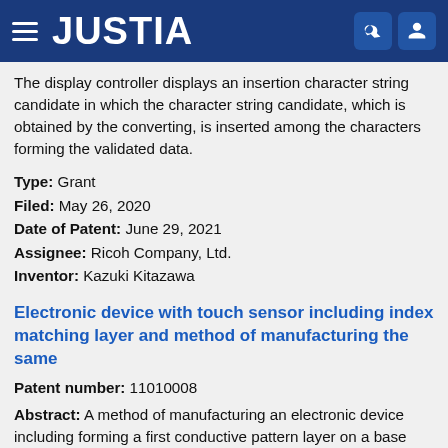JUSTIA
The display controller displays an insertion character string candidate in which the character string candidate, which is obtained by the converting, is inserted among the characters forming the validated data.
Type: Grant
Filed: May 26, 2020
Date of Patent: June 29, 2021
Assignee: Ricoh Company, Ltd.
Inventor: Kazuki Kitazawa
Electronic device with touch sensor including index matching layer and method of manufacturing the same
Patent number: 11010008
Abstract: A method of manufacturing an electronic device including forming a first conductive pattern layer on a base layer, forming an organic layer on which a